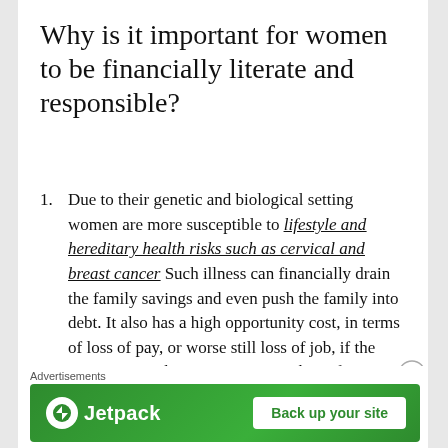Why is it important for women to be financially literate and responsible?
Due to their genetic and biological setting women are more susceptible to lifestyle and hereditary health risks such as cervical and breast cancer Such illness can financially drain the family savings and even push the family into debt. It also has a high opportunity cost, in terms of loss of pay, or worse still loss of job, if the woman is working. It is wise to take unforeseen health contingencies into
Advertisements
[Figure (screenshot): Jetpack advertisement banner with green background, Jetpack logo on left, and 'Back up your site' white button on right]